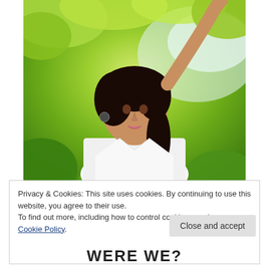[Figure (photo): Portrait photo of a young woman with dark hair, wearing a white top, hand raised above her head, surrounded by green leaves/foliage in the background]
Privacy & Cookies: This site uses cookies. By continuing to use this website, you agree to their use.
To find out more, including how to control cookies, see here: Cookie Policy
Close and accept
WERE WE?